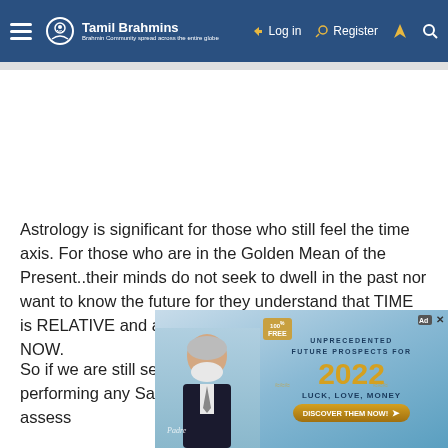Tamil Brahmins — Log in | Register
Astrology is significant for those who still feel the time axis. For those who are in the Golden Mean of the Present..their minds do not seek to dwell in the past nor want to know the future for they understand that TIME is RELATIVE and all we experience is the SERIAL NOW.
So if we are still seeking Astrology though we are performing any Sadhana, this will be a good indicator to assess
[Figure (infographic): Advertisement banner: 100% FREE, UNPRECEDENTED FUTURE PROSPECTS FOR 2022, LUCK, LOVE, MONEY, DISCOVER THEM NOW! with photo of elderly man (Padre) on left side.]